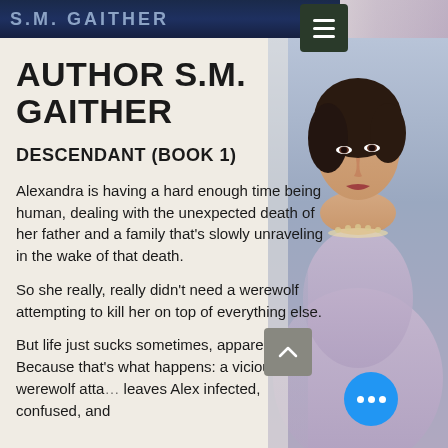S.M. GAITHER
AUTHOR S.M. GAITHER
DESCENDANT (BOOK 1)
Alexandra is having a hard enough time being human, dealing with the unexpected death of her father and a family that’s slowly unraveling in the wake of that death.
So she really, really didn’t need a werewolf attempting to kill her on top of everything else.
But life just sucks sometimes, apparently. Because that’s what happens: a vicious werewolf attack leaves Alex infected, confused, and
[Figure (photo): A woman in a lavender/purple dress with a pearl necklace, styled hair, dramatic makeup, photographed from the side/front against a dark background.]